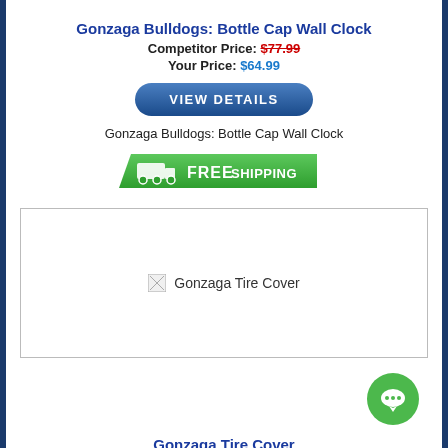Gonzaga Bulldogs: Bottle Cap Wall Clock
Competitor Price: $77.99
Your Price: $64.99
[Figure (other): VIEW DETAILS button - dark blue rounded button]
Gonzaga Bulldogs: Bottle Cap Wall Clock
[Figure (other): FREE SHIPPING badge - green banner with truck icon]
[Figure (photo): Gonzaga Tire Cover product image (broken/loading)]
Gonzaga Tire Cover
Your Price: From $57.50 to $62.10